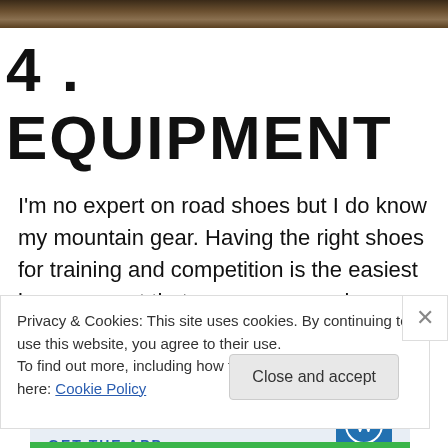[Figure (photo): Top photo strip showing outdoor/nature scene with dark brown tones]
4. EQUIPMENT
I'm no expert on road shoes but I do know my mountain gear. Having the right shoes for training and competition is the easiest improvement that anyone can make.
[Figure (screenshot): WordPress app advertisement banner with 'the go.' text, 'GET THE APP' call to action, and WordPress circular logo]
Privacy & Cookies: This site uses cookies. By continuing to use this website, you agree to their use.
To find out more, including how to control cookies, see here: Cookie Policy
Close and accept